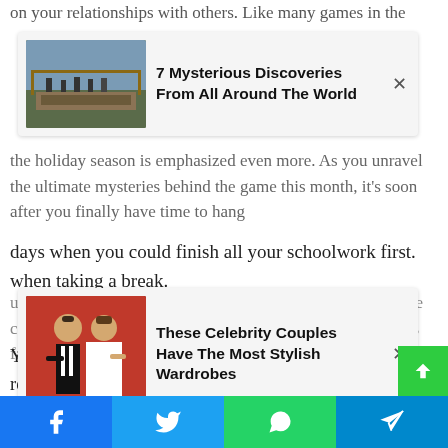on your relationships with others. Like many games in the
[Figure (other): Ad card: 7 Mysterious Discoveries From All Around The World, with thumbnail of outdoor excavation site]
the holiday season is emphasized even more. As you unravel the ultimate mysteries behind the game this month, it's soon after you finally have time to hang
[Figure (other): Ad card: These Celebrity Couples Have The Most Stylish Wardrobes, with thumbnail of couple in formal wear]
ur friends without worries. When you're playing a game, one can't help but compare; lifting weights off the shoulder feels familiar to the days when you could finish all your schoolwork first. when taking a break.
You're going to have to play quite a bit to really get the hang of it Persona 4: Gold, but by the time you do, you'll be rewarded with some of the weirdest emotions the game has to offer. The highlight is going out with your friends and family for Christmas, when you all come together and eat a big cake.
[Figure (other): Social share bar with Facebook, Twitter, WhatsApp, Telegram buttons at bottom of page]